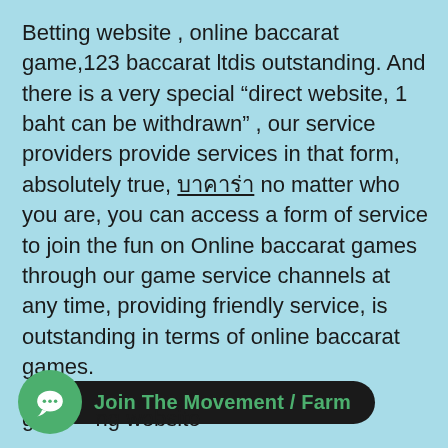Betting website , online baccarat game,123 baccarat ltdis outstanding. And there is a very special “direct website, 1 baht can be withdrawn” , our service providers provide services in that form, absolutely true, บาคาร่า no matter who you are, you can access a form of service to join the fun on Online baccarat games through our game service channels at any time, providing friendly service, is outstanding in terms of online baccarat games.
[Figure (other): Green circular chat bubble icon with ellipsis (three dots), overlapping a black rounded rectangle button reading 'Join The Movement / Farm' in green text]
ga...ng website